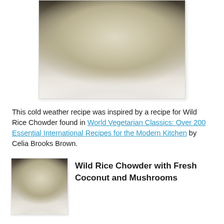[Figure (photo): Close-up overhead photo of a white bowl containing wild rice chowder with visible rice grains, carrots, and green vegetables in a creamy broth.]
This cold weather recipe was inspired by a recipe for Wild Rice Chowder found in World Vegetarian Classics: Over 200 Essential International Recipes for the Modern Kitchen by Celia Brooks Brown.
[Figure (photo): Small thumbnail image of the wild rice chowder bowl, similar to the main photo above.]
Wild Rice Chowder with Fresh Coconut and Mushrooms